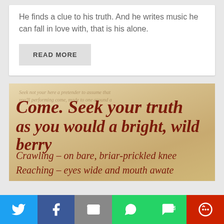He finds a clue to his truth. And he writes music he can fall in love with, that is his alone.
READ MORE
[Figure (photo): Parchment-style image with calligraphic red script reading: 'Come. Seek your truth as you would a bright, wild berry / Crawling – on bare, briar-prickled knee / Reaching – eyes wide and mouth awate[r]' with faded background text]
[Figure (infographic): Social sharing bar with Twitter, Facebook, Email, WhatsApp, SMS, and More buttons]